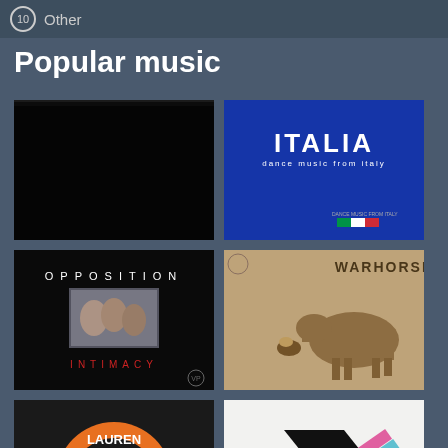10 Other
Popular music
[Figure (photo): Black album cover]
[Figure (photo): Italia - dance music from Italy, blue cover with Italian flag]
[Figure (photo): Opposition - Intimacy album cover, black background with band photo]
[Figure (photo): Warhorse album cover, sepia-toned image of person with horse]
[Figure (photo): Lauren Records orange 45rpm vinyl record label]
[Figure (photo): Abstract geometric cover with black and colorful stripes]